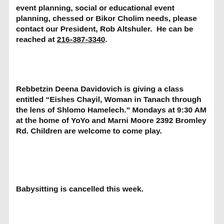event planning, social or educational event planning, chessed or Bikor Cholim needs, please contact our President, Rob Altshuler.  He can be reached at 216-387-3340.
Rebbetzin Deena Davidovich is giving a class entitled “Eishes Chayil, Woman in Tanach through the lens of Shlomo Hamelech.” Mondays at 9:30 AM at the home of YoYo and Marni Moore 2392 Bromley Rd. Children are welcome to come play.
Babysitting is cancelled this week.